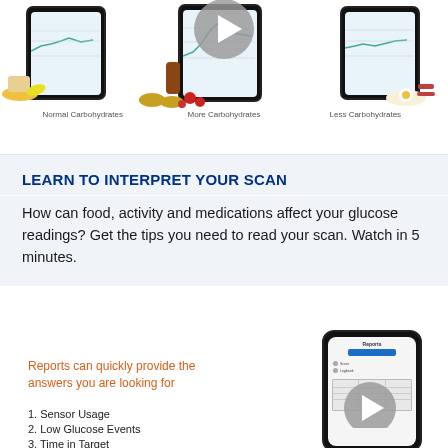[Figure (illustration): Three smartphone screens showing glucose readings after Normal Carbohydrates, More Carbohydrates, and Less Carbohydrates meals, with a play button overlay and food illustrations]
Normal Carbohydrates    More Carbohydrates    Less Carbohydrates
LEARN TO INTERPRET YOUR SCAN
How can food, activity and medications affect your glucose readings? Get the tips you need to read your scan. Watch in 5 minutes.
Reports can quickly provide the answers you are looking for
1. Sensor Usage
2. Low Glucose Events
3. Time in Target
[Figure (screenshot): Smartphone showing a Reports screen with play button overlay]